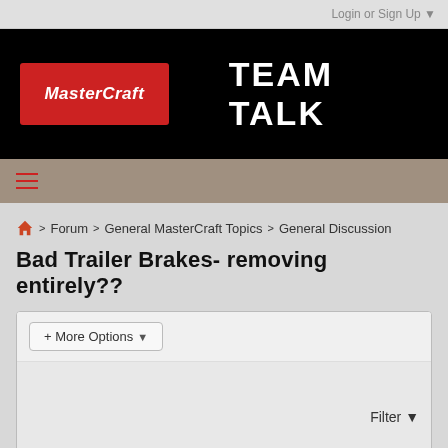Login or Sign Up ▼
[Figure (logo): MasterCraft Team Talk logo banner on black background]
≡
> Forum > General MasterCraft Topics > General Discussion
Bad Trailer Brakes- removing entirely??
+ More Options ▾
Filter ▼
1  2  Next